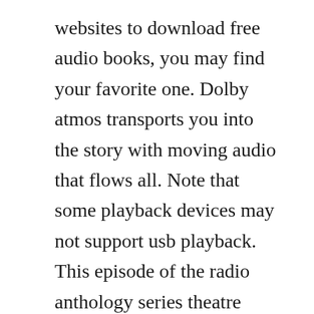websites to download free audio books, you may find your favorite one. Dolby atmos transports you into the story with moving audio that flows all. Note that some playback devices may not support usb playback. This episode of the radio anthology series theatre guild on the air was broadcast on 4 march 1951. Since amazon music hd has over 50 million tracks available in hd audio, in most cases your music will automatically play in hd quality or better.
Stream it below, or find it on spotify or in our